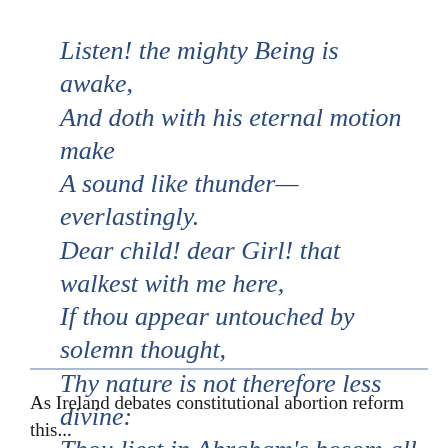Listen! the mighty Being is awake,
And doth with his eternal motion make
A sound like thunder—everlastingly.
Dear child! dear Girl! that walkest with me here,
If thou appear untouched by solemn thought,
Thy nature is not therefore less divine:
Thou liest in Abraham's bosom all the year;
And worshipp'st at the Temple's inner shrine,
God being with thee when we know it not.
As Ireland debates constitutional abortion reform this...